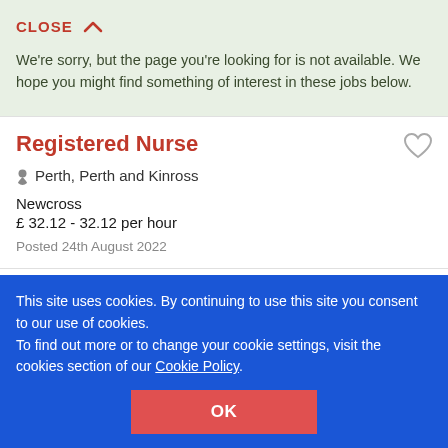CLOSE ∧
We're sorry, but the page you're looking for is not available. We hope you might find something of interest in these jobs below.
Registered Nurse
Perth, Perth and Kinross
Newcross
£ 32.12 - 32.12 per hour
Posted 24th August 2022
Advanced Nurse Practitioner
Wigan, Greater Manchester
This site uses cookies. By continuing to use this site you consent to our use of cookies.
To find out more or to change your cookie settings, visit the cookies section of our Cookie Policy.
OK